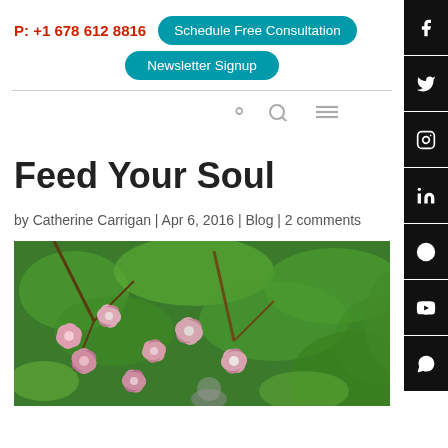P: +1 678 612 8816 | Schedule Free Consultation | Newsletter Signup
[Figure (screenshot): Navigation bar with search icon and hamburger menu]
[Figure (other): Social media sidebar with Facebook, Twitter, Instagram, LinkedIn, Pinterest, YouTube, WhatsApp icons]
Feed Your Soul
by Catherine Carrigan | Apr 6, 2016 | Blog | 2 comments
[Figure (photo): Photo of pink azalea flowers and green foliage in a garden setting]